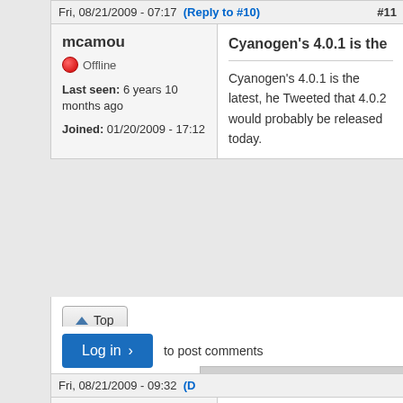Fri, 08/21/2009 - 07:17  (Reply to #10)  #11
mcamou
Offline
Last seen: 6 years 10 months ago
Joined: 01/20/2009 - 17:12
Cyanogen's 4.0.1 is the
Cyanogen's 4.0.1 is the latest, he Tweeted that 4.0.2 would probably be released today.
Top
Log in  to post comments
Back to Top
Fri, 08/21/2009 - 09:32  (D...
ChicagoPete
Offline
True
From what I've read...